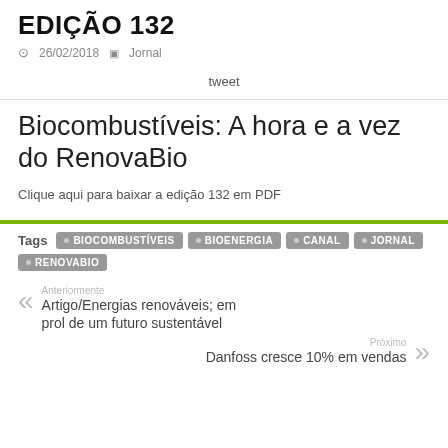EDIÇÃO 132
26/02/2018  Jornal
tweet
Biocombustíveis: A hora e a vez do RenovaBio
Clique aqui para baixar a edição 132 em PDF
Tags  BIOCOMBUSTÍVEIS  BIOENERGIA  CANAL  JORNAL  RENOVABIO
Anteriormente
Artigo/Energias renováveis; em prol de um futuro sustentável
Próximo
Danfoss cresce 10% em vendas